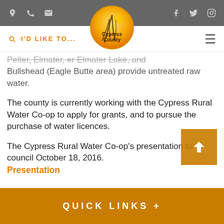Cypress County website header with navigation icons, logo, search and menu
...Pelter, Aker, Elmater, er Elmater Lake, and Bullshead (Eagle Butte area) provide untreated raw water.
The county is currently working with the Cypress Rural Water Co-op to apply for grants, and to pursue the purchase of water licences.
The Cypress Rural Water Co-op's presentation to council October 18, 2016.
Presentation
Executive Summary and Maps of the Cypress Rural Water Co-op were presented February 7, 2017.
QUICK LINKS +